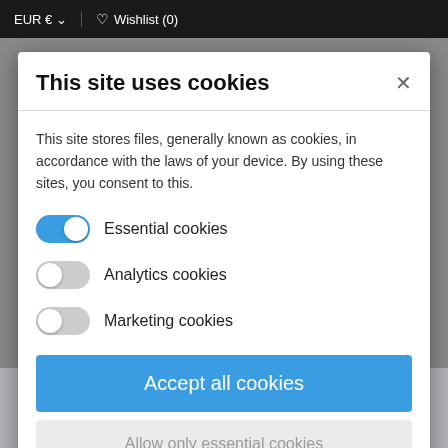EUR € ↓  ♡ Wishlist (0)
This site uses cookies
This site stores files, generally known as cookies, in accordance with the laws of your device. By using these sites, you consent to this.
Essential cookies
Analytics cookies
Marketing cookies
Accept all cookies
Allow only essential cookies
More information